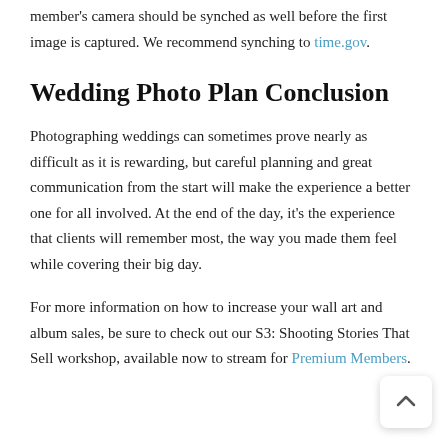member's camera should be synched as well before the first image is captured. We recommend synching to time.gov.
Wedding Photo Plan Conclusion
Photographing weddings can sometimes prove nearly as difficult as it is rewarding, but careful planning and great communication from the start will make the experience a better one for all involved. At the end of the day, it's the experience that clients will remember most, the way you made them feel while covering their big day.
For more information on how to increase your wall art and album sales, be sure to check out our S3: Shooting Stories That Sell workshop, available now to stream for Premium Members.